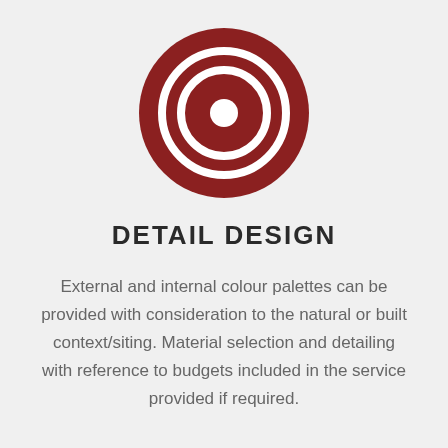[Figure (illustration): Dark red circular icon with concentric circles (target/bullseye style) on a light gray background]
DETAIL DESIGN
External and internal colour palettes can be provided with consideration to the natural or built context/siting. Material selection and detailing with reference to budgets included in the service provided if required.